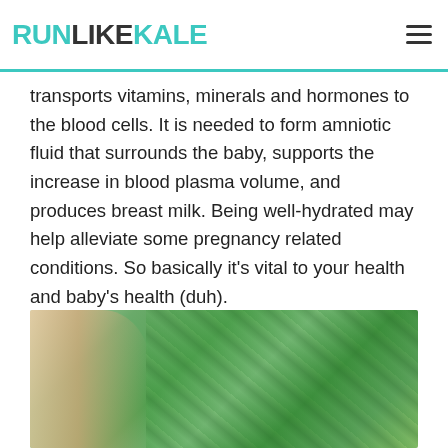RUNLIKEKALE
transports vitamins, minerals and hormones to the blood cells. It is needed to form amniotic fluid that surrounds the baby, supports the increase in blood plasma volume, and produces breast milk. Being well-hydrated may help alleviate some pregnancy related conditions. So basically it’s vital to your health and baby’s health (duh).
[Figure (photo): A hand picking or touching fresh green mint/herb leaves growing in a garden or pot, photographed up close with lush green foliage filling the background.]